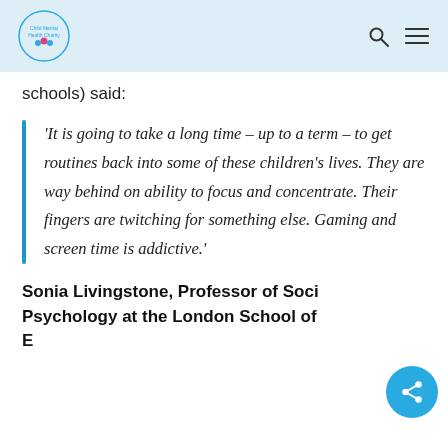Child Mental Health Charity logo, search icon, menu icon
schools) said:
‘It is going to take a long time – up to a term – to get routines back into some of these children’s lives. They are way behind on ability to focus and concentrate. Their fingers are twitching for something else. Gaming and screen time is addictive.’
Sonia Livingstone, Professor of Social Psychology at the London School of Economics, said that teachers had